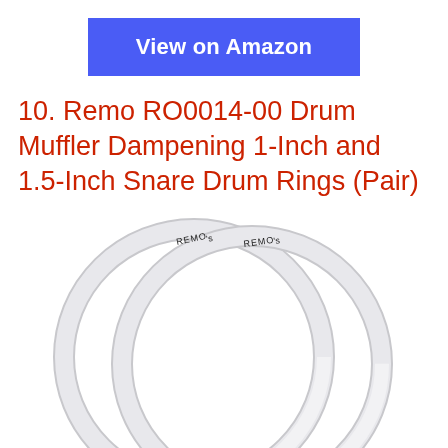View on Amazon
10. Remo RO0014-00 Drum Muffler Dampening 1-Inch and 1.5-Inch Snare Drum Rings (Pair)
[Figure (photo): Two silver/white circular drum muffler rings (Remo brand) slightly overlapping, shown from above on a white background. Each ring has 'REMO's' text printed on the top portion.]